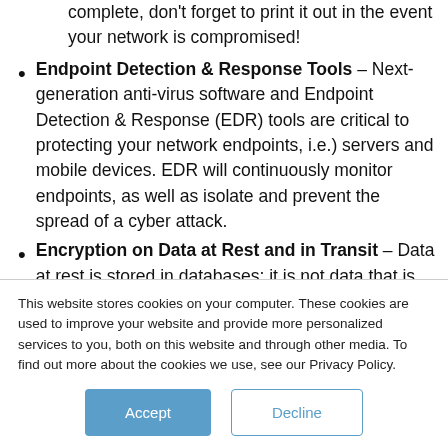complete, don't forget to print it out in the event your network is compromised!
Endpoint Detection & Response Tools – Next-generation anti-virus software and Endpoint Detection & Response (EDR) tools are critical to protecting your network endpoints, i.e.) servers and mobile devices. EDR will continuously monitor endpoints, as well as isolate and prevent the spread of a cyber attack.
Encryption on Data at Rest and in Transit – Data at rest is stored in databases; it is not data that is actively moving through
This website stores cookies on your computer. These cookies are used to improve your website and provide more personalized services to you, both on this website and through other media. To find out more about the cookies we use, see our Privacy Policy.